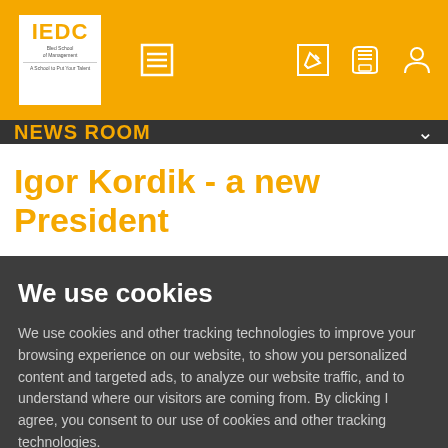[Figure (logo): IEDC Bled School of Management logo in white box on yellow navigation bar with menu icon and right-side icons]
NEWS ROOM
Igor Kordik - a new President
We use cookies
We use cookies and other tracking technologies to improve your browsing experience on our website, to show you personalized content and targeted ads, to analyze our website traffic, and to understand where our visitors are coming from. By clicking I agree, you consent to our use of cookies and other tracking technologies.
I agree | Change my settings